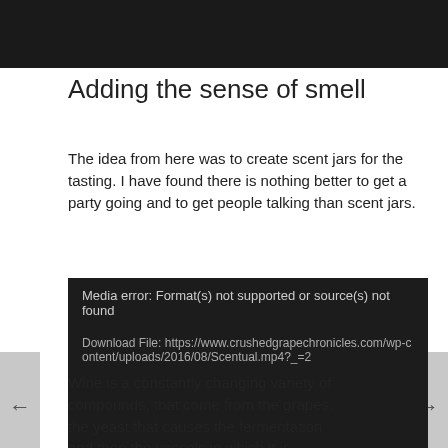[Figure (photo): Black bar at top of page, likely a video or image placeholder]
Adding the sense of smell
The idea from here was to create scent jars for the tasting. I have found there is nothing better to get a party going and to get people talking than scent jars.
[Figure (screenshot): Media player error box with black background. Shows: 'Media error: Format(s) not supported or source(s) not found' and 'Download File: https://www.crushedgrapechronicles.com/wp-content/uploads/2016/08/Scentual.mp4?_=2']
Wine is a constantly changing variety of compounds, that come from the grapes, the yeast that causes the fermentation and then the vessels in which it is fermented